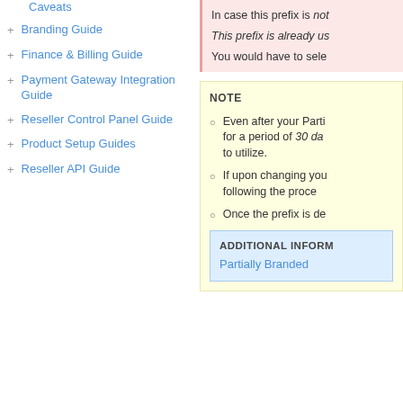Caveats
Branding Guide
Finance & Billing Guide
Payment Gateway Integration Guide
Reseller Control Panel Guide
Product Setup Guides
Reseller API Guide
In case this prefix is not...
This prefix is already us...
You would have to sele...
NOTE
Even after your Parti... for a period of 30 da... to utilize.
If upon changing you... following the proce...
Once the prefix is de...
ADDITIONAL INFORM...
Partially Branded...